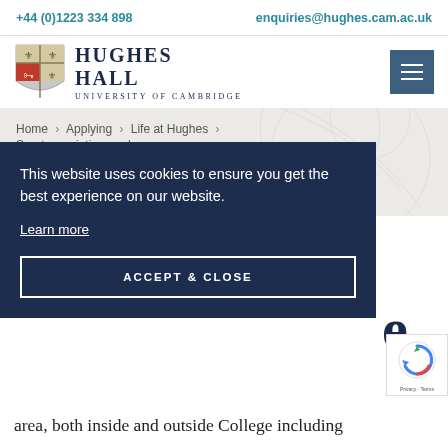+44 (0)1223 334 898   enquiries@hughes.cam.ac.uk
[Figure (logo): Hughes Hall University of Cambridge shield logo with name]
Home > Applying > Life at Hughes > Sports, societies, and more
Sports, societies, and more (partial heading visible)
This website uses cookies to ensure you get the best experience on our website. Learn more
ACCEPT & CLOSE
area, both inside and outside College including